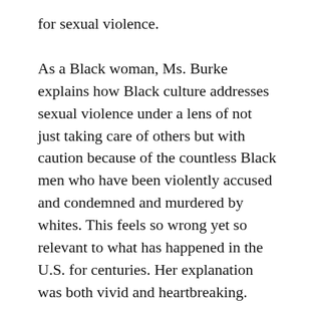for sexual violence.
As a Black woman, Ms. Burke explains how Black culture addresses sexual violence under a lens of not just taking care of others but with caution because of the countless Black men who have been violently accused and condemned and murdered by whites. This feels so wrong yet so relevant to what has happened in the U.S. for centuries. Her explanation was both vivid and heartbreaking.
Much of Unbound is about Ms. Burke’s realization that others have experienced the same type of pain and suffering. Their stories helped her to find her voice, and she returns